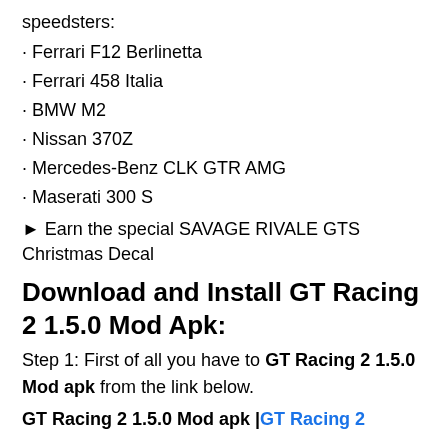speedsters:
· Ferrari F12 Berlinetta
· Ferrari 458 Italia
· BMW M2
· Nissan 370Z
· Mercedes-Benz CLK GTR AMG
· Maserati 300 S
► Earn the special SAVAGE RIVALE GTS Christmas Decal
Download and Install GT Racing 2 1.5.0 Mod Apk:
Step 1: First of all you have to GT Racing 2 1.5.0 Mod apk from the link below.
GT Racing 2 1.5.0 Mod apk |GT Racing 2